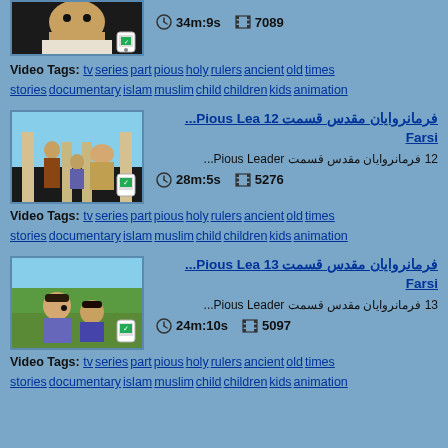[Figure (screenshot): Video thumbnail showing animated character (top, partial)]
34m:9s   7089
Video Tags: tv series part pious holy rulers ancient old times stories documentary islam muslim child children kids animation
[Figure (screenshot): Video thumbnail for Pious Leaders episode 12 showing animated characters]
Pious Leaders فرمانروایان مقدس قسمت 12 Farsi
12 فرمانروایان مقدس قسمت Pious Leader
28m:5s   5276
Video Tags: tv series part pious holy rulers ancient old times stories documentary islam muslim child children kids animation
[Figure (screenshot): Video thumbnail for Pious Leaders episode 13 showing child characters]
Pious Leaders فرمانروایان مقدس قسمت 13 Farsi
13 فرمانروایان مقدس قسمت Pious Leader
24m:10s   5097
Video Tags: tv series part pious holy rulers ancient old times stories documentary islam muslim child children kids animation